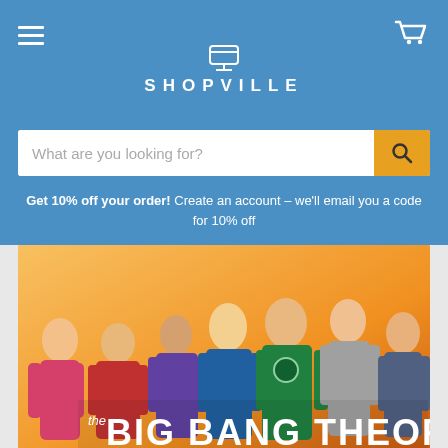SHOPVILLE
What are you looking for?
Get 10% off your order! Create an account – we'll email you a code for 10% off
[Figure (photo): Promotional banner showing cast of The Big Bang Theory TV show on an orange background with the show's logo text 'the BIG BANG THEORY' at the bottom]